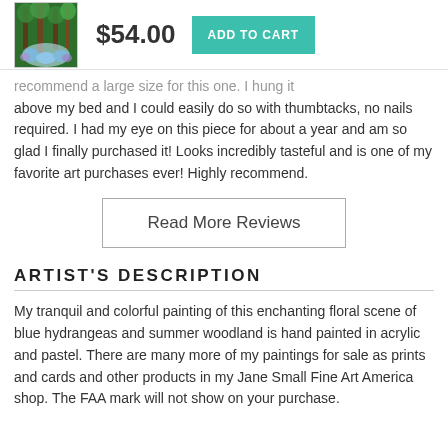[Figure (photo): Small thumbnail of a colorful painting showing blue hydrangeas and summer woodland scene with tall trees]
$54.00
ADD TO CART
recommend a large size for this one. I hung it above my bed and I could easily do so with thumbtacks, no nails required. I had my eye on this piece for about a year and am so glad I finally purchased it! Looks incredibly tasteful and is one of my favorite art purchases ever! Highly recommend.
Read More Reviews
ARTIST'S  DESCRIPTION
My tranquil and colorful painting of this enchanting floral scene of blue hydrangeas and summer woodland is hand painted in acrylic and pastel. There are many more of my paintings for sale as prints and cards and other products in my Jane Small Fine Art America shop. The FAA mark will not show on your purchase.